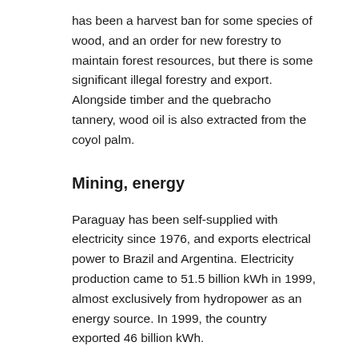has been a harvest ban for some species of wood, and an order for new forestry to maintain forest resources, but there is some significant illegal forestry and export. Alongside timber and the quebracho tannery, wood oil is also extracted from the coyol palm.
Mining, energy
Paraguay has been self-supplied with electricity since 1976, and exports electrical power to Brazil and Argentina. Electricity production came to 51.5 billion kWh in 1999, almost exclusively from hydropower as an energy source. In 1999, the country exported 46 billion kWh.
Industry, energy
The industry is largely based on the processing of raw materials from agriculture and forestry, and employs 18.5% (2012) of the working population. In 2002, the industrial